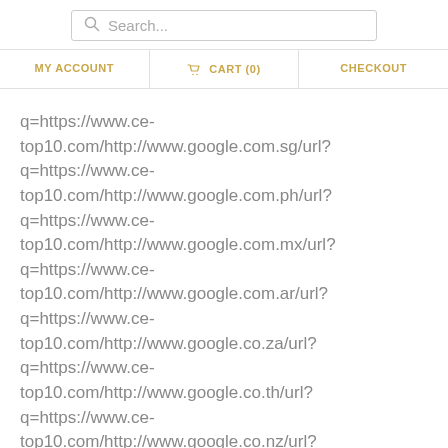Search...
MY ACCOUNT | CART (0) | CHECKOUT
q=https://www.ce-top10.com/http://www.google.com.sg/url?q=https://www.ce-top10.com/http://www.google.com.ph/url?q=https://www.ce-top10.com/http://www.google.com.mx/url?q=https://www.ce-top10.com/http://www.google.com.ar/url?q=https://www.ce-top10.com/http://www.google.co.za/url?q=https://www.ce-top10.com/http://www.google.co.th/url?q=https://www.ce-top10.com/http://www.google.co.nz/url?q=https://www.ce-top10.com/http://www.google.co.kr/url?